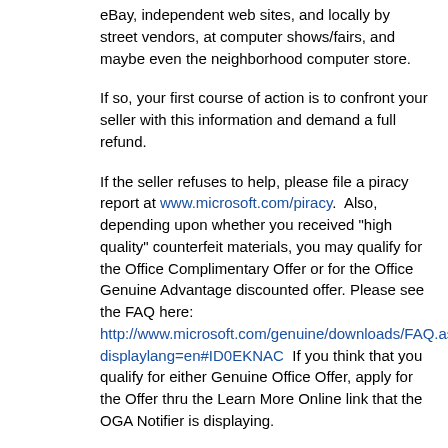eBay, independent web sites, and locally by street vendors, at computer shows/fairs, and maybe even the neighborhood computer store.
If so, your first course of action is to confront your seller with this information and demand a full refund.
If the seller refuses to help, please file a piracy report at www.microsoft.com/piracy.  Also, depending upon whether you received "high quality" counterfeit materials, you may qualify for the Office Complimentary Offer or for the Office Genuine Advantage discounted offer. Please see the FAQ here: http://www.microsoft.com/genuine/downloads/FAQ.aspx?displaylang=en#ID0EKNAC  If you think that you qualify for either Genuine Office Offer, apply for the Offer thru the Learn More Online link that the OGA Notifier is displaying.
For great advice on all topics XP, visit http://www.annoyances.org/exec/forum